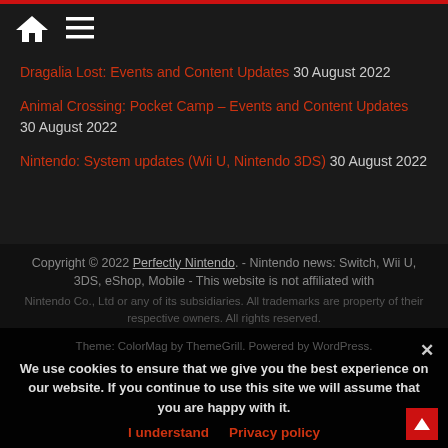Home | Menu
Dragalia Lost: Events and Content Updates 30 August 2022
Animal Crossing: Pocket Camp – Events and Content Updates 30 August 2022
Nintendo: System updates (Wii U, Nintendo 3DS) 30 August 2022
Copyright © 2022 Perfectly Nintendo. - Nintendo news: Switch, Wii U, 3DS, eShop, Mobile - This website is not affiliated with Nintendo Co., Ltd or any of its subsidiaries. All trademarks are property of their respective owners. All rights reserved. Theme: ColorMag by ThemeGrill. Powered by WordPress.
We use cookies to ensure that we give you the best experience on our website. If you continue to use this site we will assume that you are happy with it.
I understand  Privacy policy